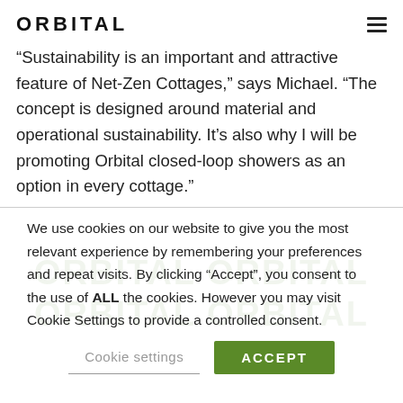ORBITAL
“Sustainability is an important and attractive feature of Net-Zen Cottages,” says Michael. “The concept is designed around material and operational sustainability. It’s also why I will be promoting Orbital closed-loop showers as an option in every cottage.”
We use cookies on our website to give you the most relevant experience by remembering your preferences and repeat visits. By clicking “Accept”, you consent to the use of ALL the cookies. However you may visit Cookie Settings to provide a controlled consent.